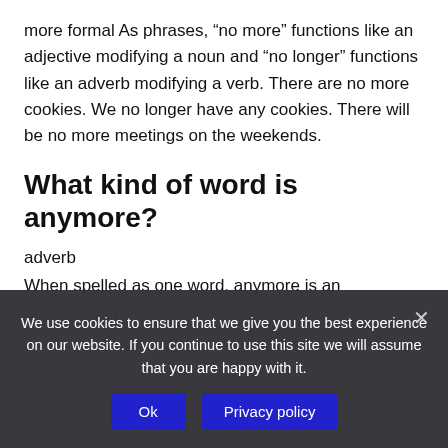more formal As phrases, “no more” functions like an adjective modifying a noun and “no longer” functions like an adverb modifying a verb. There are no more cookies. We no longer have any cookies. There will be no more meetings on the weekends.
What kind of word is anymore?
adverb
When spelled as one word, anymore is an
We use cookies to ensure that we give you the best experience on our website. If you continue to use this site we will assume that you are happy with it.